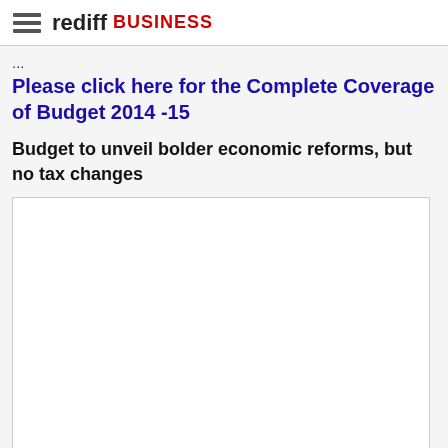rediff BUSINESS
...
Please click here for the Complete Coverage of Budget 2014 -15
Budget to unveil bolder economic reforms, but no tax changes
[Figure (other): Empty white content/ad placeholder box]